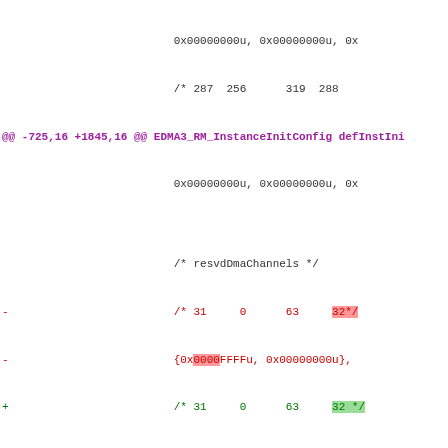diff code block showing EDMA3 resource config changes
@@ -725,16 +1845,16 @@ EDMA3_RM_InstanceInitConfig defInstIni
@@ -743,27 +1863,27 @@ EDMA3_RM_InstanceInitConfig defInstIni